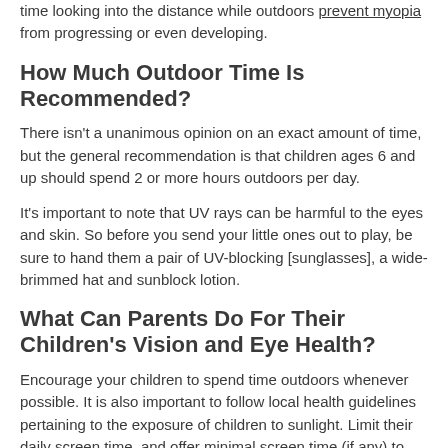time looking into the distance while outdoors prevent myopia from progressing or even developing.
How Much Outdoor Time Is Recommended?
There isn't a unanimous opinion on an exact amount of time, but the general recommendation is that children ages 6 and up should spend 2 or more hours outdoors per day.
It's important to note that UV rays can be harmful to the eyes and skin. So before you send your little ones out to play, be sure to hand them a pair of UV-blocking [sunglasses], a wide-brimmed hat and sunblock lotion.
What Can Parents Do For Their Children's Vision and Eye Health?
Encourage your children to spend time outdoors whenever possible. It is also important to follow local health guidelines pertaining to the exposure of children to sunlight. Limit their daily screen time, and offer minimal screen time (if any) to children under the age of 2.